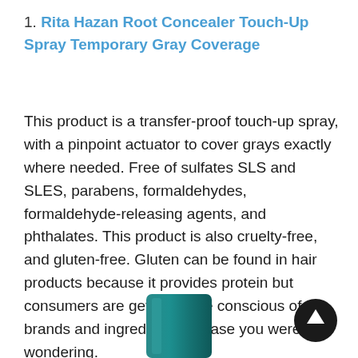1. Rita Hazan Root Concealer Touch-Up Spray Temporary Gray Coverage
This product is a transfer-proof touch-up spray, with a pinpoint actuator to cover grays exactly where needed. Free of sulfates SLS and SLES, parabens, formaldehydes, formaldehyde-releasing agents, and phthalates. This product is also cruelty-free, and gluten-free. Gluten can be found in hair products because it provides protein but consumers are getting more conscious of brands and ingredients, in case you were wondering.
[Figure (photo): Bottom portion of a teal/dark green hair spray can with rounded top cap, partially visible at bottom center of page. A dark circular scroll-to-top button with an upward arrow is visible in the lower right.]